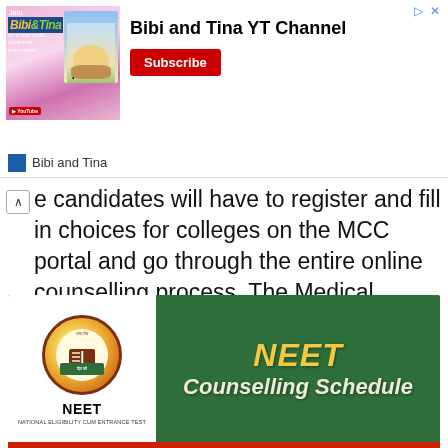[Figure (screenshot): Advertisement banner for Bibi and Tina YouTube Channel with Subscribe button and character illustration]
Bibi and Tina
e candidates will have to register and fill in choices for colleges on the MCC portal and go through the entire online counselling process. The Medical Counselling Committee has not yet informed candidates regarding the counselling schedule.
[Figure (infographic): NEET Counselling Schedule graphic with NEET emblem logo on white background and text on dark green background]